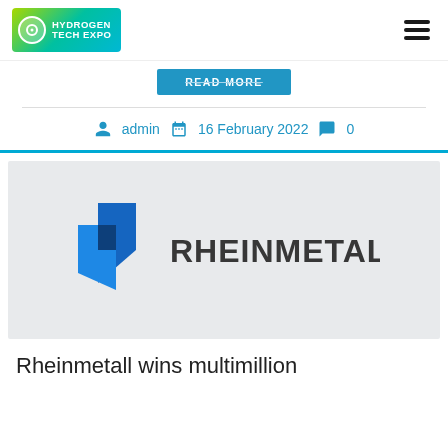HYDROGEN TECH EXPO
READ MORE
admin  16 February 2022  0
[Figure (logo): Rheinmetall company logo with blue angular arrow icon and bold RHEINMETALL text in dark gray]
Rheinmetall wins multimillion